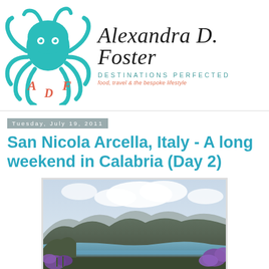[Figure (logo): Teal octopus logo with stylized letters A, D, F and brand name 'Alexandra D. Foster' in script with tagline 'DESTINATIONS PERFECTED - food, travel & the bespoke lifestyle']
Tuesday, July 19, 2011
San Nicola Arcella, Italy - A long weekend in Calabria (Day 2)
[Figure (photo): Scenic coastal mountain view from San Nicola Arcella, Calabria, Italy with purple flowers in the foreground, mountains and sea in the background under a cloudy sky]